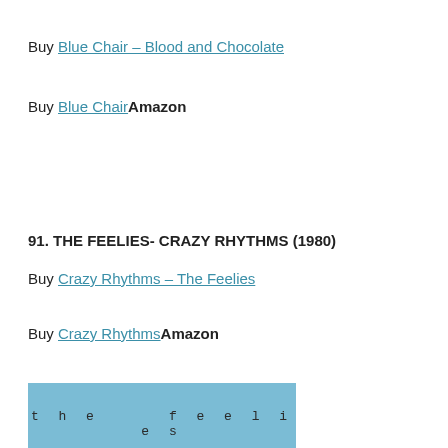Buy Blue Chair – Blood and Chocolate
Buy Blue Chair Amazon
91. THE FEELIES- CRAZY RHYTHMS (1980)
Buy Crazy Rhythms – The Feelies
Buy Crazy Rhythms Amazon
[Figure (illustration): Light blue album cover image for The Feelies with text 'the feelies' in lowercase spaced letters across the center]